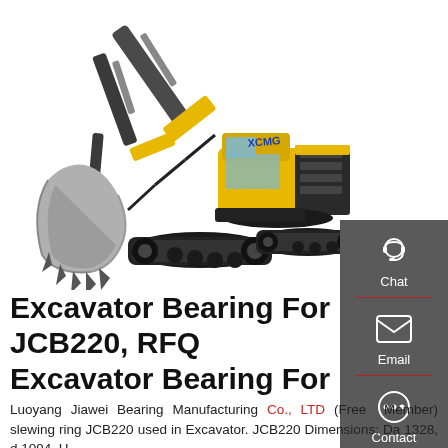[Figure (photo): Yellow XCMG large excavator with bucket lowered, white background, brand logo visible on cab]
Excavator Bearing For JCB220, RFQ Excavator Bearing For
Luoyang Jiawei Bearing Manufacturing Co., LTD (Free Member) slewing ring JCB220 used in Excavator. JCB220 Dimensions: Da 1328, d 1094, H